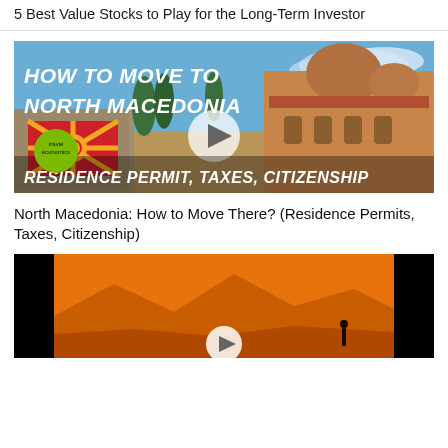5 Best Value Stocks to Play for the Long-Term Investor
[Figure (photo): Thumbnail image for a video about moving to North Macedonia. Shows text 'HOW TO MOVE TO NORTH MACEDONIA' and 'RESIDENCE PERMIT, TAXES, CITIZENSHIP' over a photo of a historic Byzantine church with North Macedonia flag and a travel economics logo badge.]
North Macedonia: How to Move There? (Residence Permits, Taxes, Citizenship)
[Figure (photo): Thumbnail image with orange and black background showing desert silhouette scene with a circular play button icon at the bottom center.]